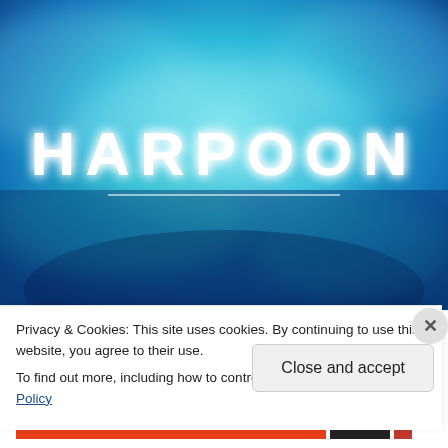[Figure (illustration): Underwater/ocean themed blue gradient background with the word HARPOON in large white bold letters centered, with a white underline beneath the text. The image is a stylized blue-green smoky/misty underwater scene.]
Privacy & Cookies: This site uses cookies. By continuing to use this website, you agree to their use.
To find out more, including how to control cookies, see here: Cookie Policy
Close and accept